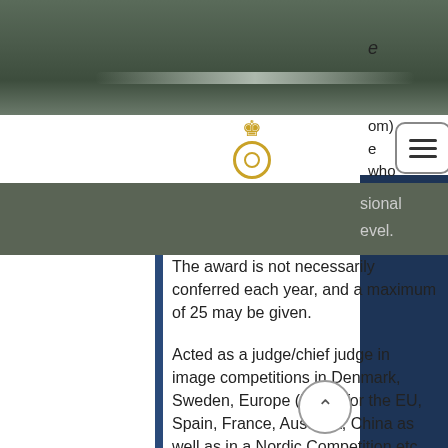[Figure (photo): Dark olive/green toned photograph header area with a horizontal highlight/shine bar]
e
[Figure (logo): SM Fotografi logo with gold crown, gold ring/circle, and gold text 'S M FOTOGRAFI']
om)
e
who
sional
evel.
The award is not necessarily conferred each year, and a maximum of 25 may be given.
Acted as a judge/chief judge in image competitions in Denmark, Sweden, Europe (FEP), for the EU, Spain, France, Australia, China as well as in a Nordic Competition etc
Proud and happy to now be “Head Judge” in Sweden for the 8th time -